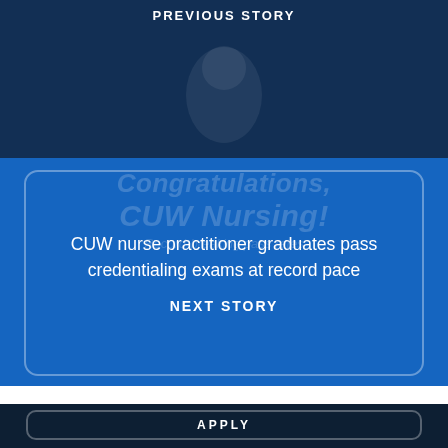PREVIOUS STORY
[Figure (photo): Dark blue photo background with a person figure partially visible, overlay with CUW Nursing congratulations watermark text]
CUW nurse practitioner graduates pass credentialing exams at record pace
NEXT STORY
APPLY